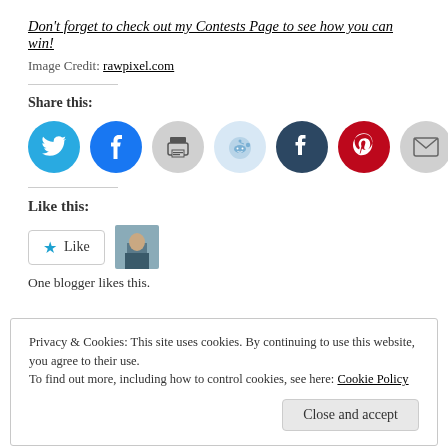Don't forget to check out my Contests Page to see how you can win!
Image Credit: rawpixel.com
Share this:
[Figure (infographic): Row of 7 social share icon circles: Twitter (blue), Facebook (blue), Print (grey), Reddit (light blue), Tumblr (dark navy), Pinterest (red), Email (grey)]
Like this:
[Figure (infographic): Like button widget with star icon and 'Like' text, and a blogger avatar thumbnail next to it]
One blogger likes this.
Privacy & Cookies: This site uses cookies. By continuing to use this website, you agree to their use.
To find out more, including how to control cookies, see here: Cookie Policy
Close and accept